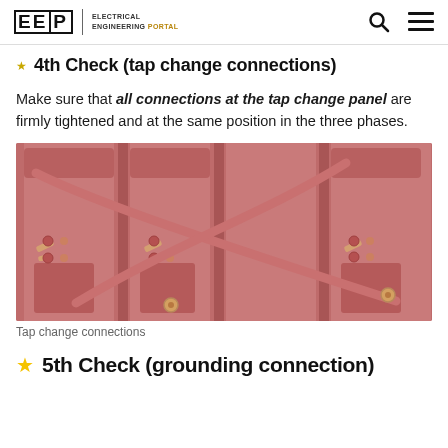EEP | ELECTRICAL ENGINEERING PORTAL
4th Check (tap change connections)
Make sure that all connections at the tap change panel are firmly tightened and at the same position in the three phases.
[Figure (photo): Close-up photo of transformer tap change panel connections showing three-phase tap changer hardware with bolted connections and cables crossing in an X pattern, rendered in muted rose/terracotta color scheme.]
Tap change connections
5th Check (grounding connection)